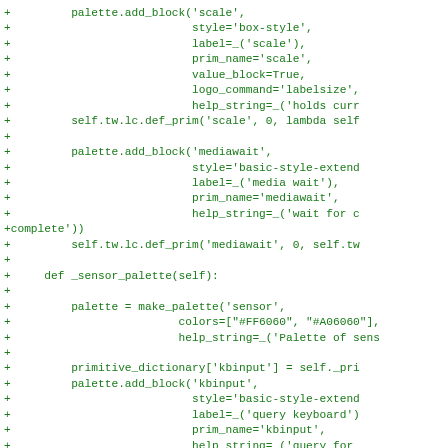Code diff showing additions to palette and sensor palette methods in Python